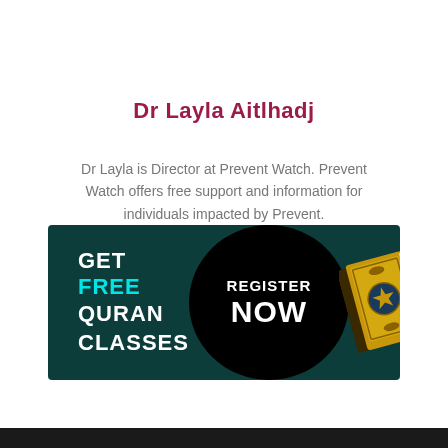Dr Layla Aitlhadj
Dr Layla is Director at Prevent Watch. Prevent Watch offers free support and information for individuals impacted by Prevent.
[Figure (infographic): Dark teal banner advertisement: 'GET FREE QURAN CLASSES' on left in white and cyan bold text, a black circle in the center with 'REGISTER NOW' in white bold text, and a gold decorative Quran book image on the right.]